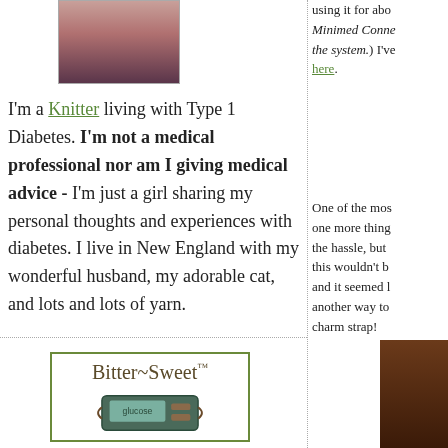[Figure (photo): Profile photo of a woman with reddish-brown hair wearing a purple top]
I'm a Knitter living with Type 1 Diabetes. I'm not a medical professional nor am I giving medical advice - I'm just a girl sharing my personal thoughts and experiences with diabetes. I live in New England with my wonderful husband, my adorable cat, and lots and lots of yarn.
[Figure (logo): Bitter~Sweet logo with a green border and a diabetes device image underneath]
using it for abo Minimed Conne the system.) I've here.
One of the mos one more thing the hassle, but this wouldn't b and it seemed l another way to charm strap!
[Figure (photo): Brown/dark wood colored partial image on the right bottom]